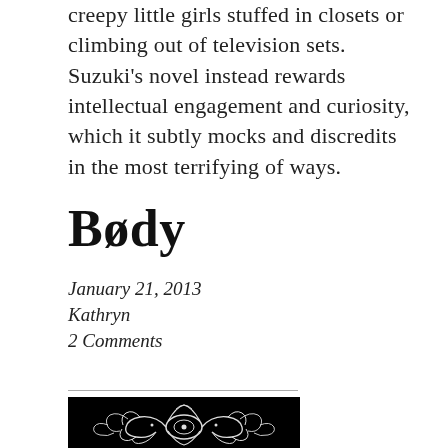creepy little girls stuffed in closets or climbing out of television sets. Suzuki's novel instead rewards intellectual engagement and curiosity, which it subtly mocks and discredits in the most terrifying of ways.
Bødy
January 21, 2013
Kathryn
2 Comments
[Figure (illustration): Black background with ornate white decorative baroque/rococo scrollwork ornament design]